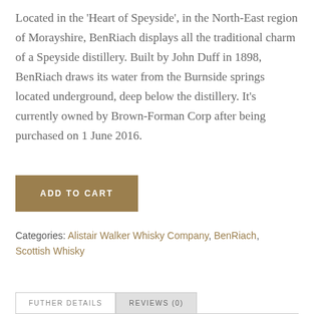Located in the 'Heart of Speyside', in the North-East region of Morayshire, BenRiach displays all the traditional charm of a Speyside distillery. Built by John Duff in 1898, BenRiach draws its water from the Burnside springs located underground, deep below the distillery. It's currently owned by Brown-Forman Corp after being purchased on 1 June 2016.
ADD TO CART
Categories: Alistair Walker Whisky Company, BenRiach, Scottish Whisky
FUTHER DETAILS   REVIEWS (0)